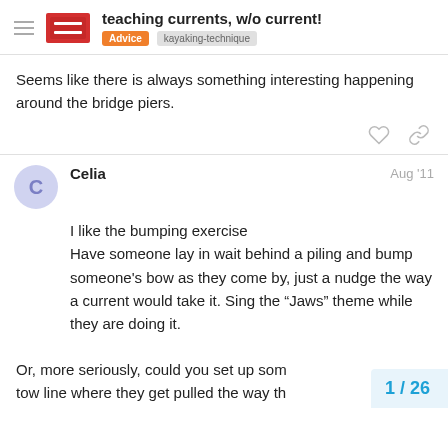teaching currents, w/o current! | Advice | kayaking-technique
Seems like there is always something interesting happening around the bridge piers.
Celia  Aug '11
I like the bumping exercise
Have someone lay in wait behind a piling and bump someone's bow as they come by, just a nudge the way a current would take it. Sing the “Jaws” theme while they are doing it.
Or, more seriously, could you set up som tow line where they get pulled the way th
1 / 26